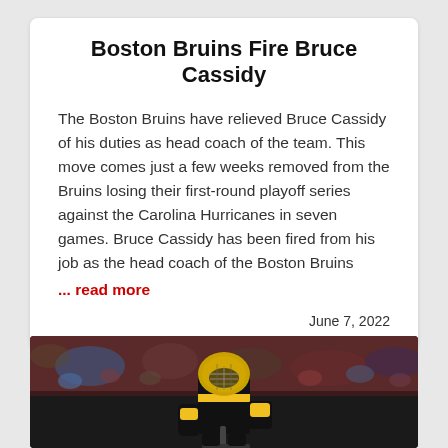Boston Bruins Fire Bruce Cassidy
The Boston Bruins have relieved Bruce Cassidy of his duties as head coach of the team. This move comes just a few weeks removed from the Bruins losing their first-round playoff series against the Carolina Hurricanes in seven games. Bruce Cassidy has been fired from his job as the head coach of the Boston Bruins
... read more
June 7, 2022
[Figure (photo): A Boston Bruins goalie in black and yellow uniform and decorated helmet, photographed from the ice level with a blurred arena crowd in the background.]